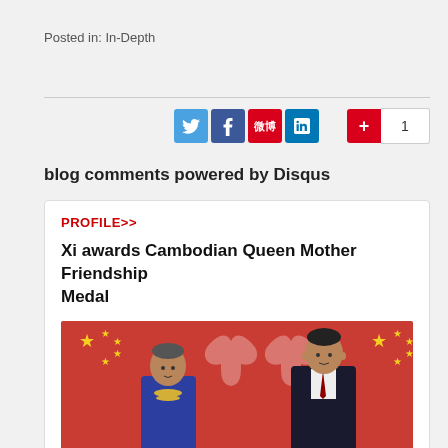Posted in: In-Depth
[Figure (screenshot): Social sharing buttons: Twitter (blue), Facebook (dark blue), Weibo (red), LinkedIn (blue), and a +1 button with count 1]
blog comments powered by Disqus
PROFILE>>
Xi awards Cambodian Queen Mother Friendship Medal
[Figure (photo): Photo of two people standing in front of Chinese and Cambodian flags. On the left, an elderly woman in a blue outfit with a gold necklace. On the right, a man in a dark suit with a red tie, believed to be Xi Jinping.]